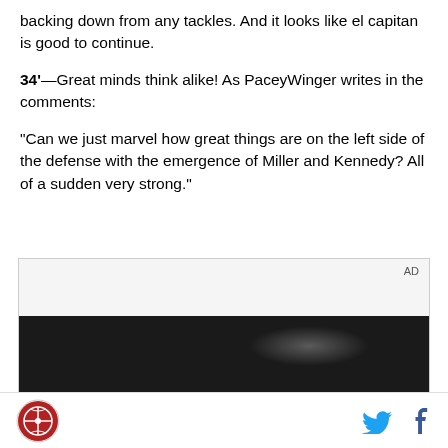backing down from any tackles. And it looks like el capitan is good to continue.
34'—Great minds think alike! As PaceyWinger writes in the comments:
“Can we just marvel how great things are on the left side of the defense with the emergence of Miller and Kennedy? All of a sudden very strong.”
[Figure (other): Advertisement placeholder with dark image below]
Logo | Twitter icon | Facebook icon